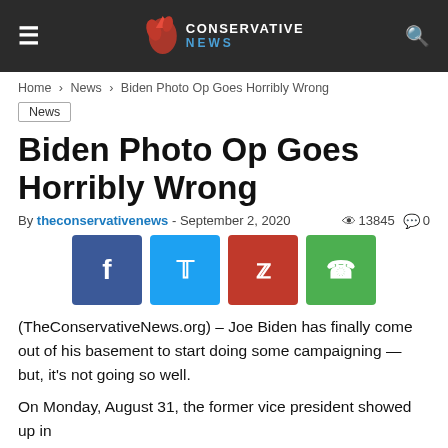CONSERVATIVE NEWS
Home › News › Biden Photo Op Goes Horribly Wrong
News
Biden Photo Op Goes Horribly Wrong
By theconservativenews - September 2, 2020  13845  0
[Figure (infographic): Social sharing buttons: Facebook, Twitter, Pinterest, WhatsApp]
(TheConservativeNews.org) – Joe Biden has finally come out of his basement to start doing some campaigning — but, it's not going so well.
On Monday, August 31, the former vice president showed up in